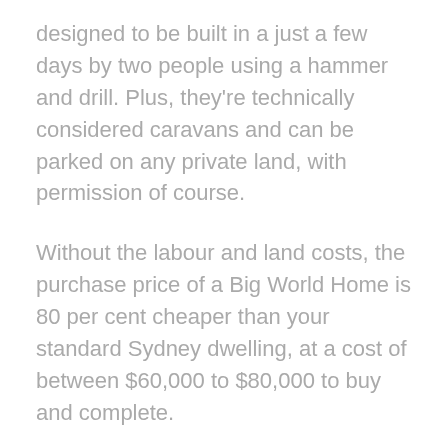designed to be built in a just a few days by two people using a hammer and drill. Plus, they're technically considered caravans and can be parked on any private land, with permission of course.
Without the labour and land costs, the purchase price of a Big World Home is 80 per cent cheaper than your standard Sydney dwelling, at a cost of between $60,000 to $80,000 to buy and complete.
Dr Joanne Jakovich, co-innovator of BWH says, “The re-thinking of ‘space’ and ‘wealth’ is to housing what the sharing economy was to capitalism – Big World Homes has an expansive effect, creating a new life and new communities in the city.”